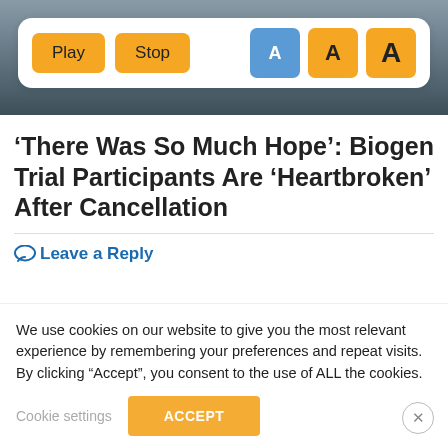[Figure (screenshot): Top portion of a blurred background photo (dark/muted tones) with a floating toolbar overlay containing Play and Stop buttons (yellow) and three 'A' font-size buttons (blue and yellow).]
‘There Was So Much Hope’: Biogen Trial Participants Are ‘Heartbroken’ After Cancellation
Leave a Reply
We use cookies on our website to give you the most relevant experience by remembering your preferences and repeat visits. By clicking “Accept”, you consent to the use of ALL the cookies.